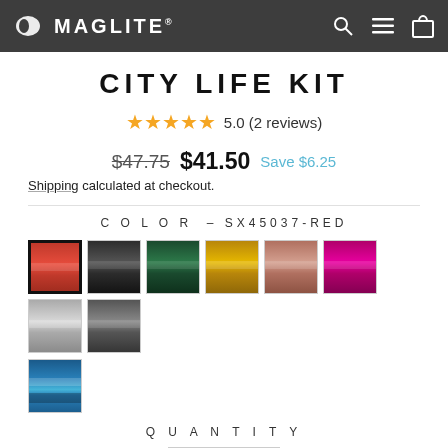MAGLITE
CITY LIFE KIT
5.0 (2 reviews)
$47.75  $41.50  Save $6.25
Shipping calculated at checkout.
COLOR — SX45037-RED
[Figure (other): Color swatches: red (selected), black, dark green, gold/yellow, copper/rose, magenta/pink, silver/light gray, dark gray, and blue]
QUANTITY